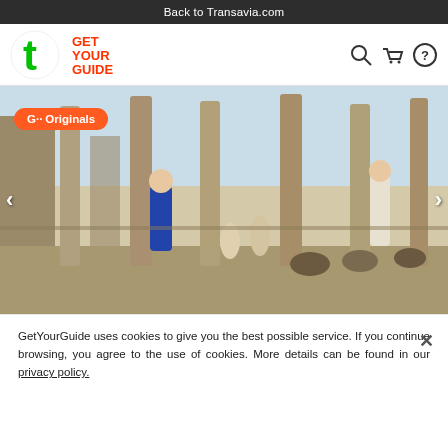Back to Transavia.com
[Figure (logo): Transavia green 't' logo in a white circle and GetYourGuide logo in orange/red text, with search, cart, and help icons]
[Figure (photo): Tour guide with a group of tourists at ancient Roman ruins (Pompeii), with a G Originals badge overlay and left/right navigation arrows]
GetYourGuide uses cookies to give you the best possible service. If you continue browsing, you agree to the use of cookies. More details can be found in our privacy policy.